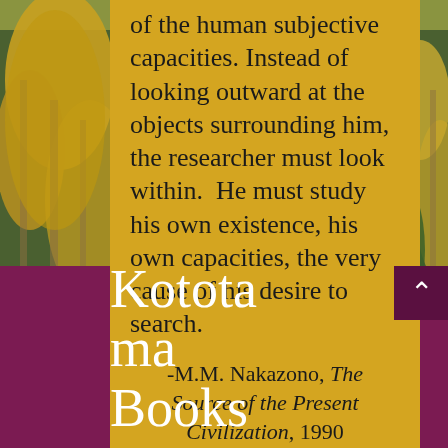[Figure (photo): Forest background with golden autumn aspen trees and green conifers]
of the human subjective capacities. Instead of looking outward at the objects surrounding him, the researcher must look within.  He must study his own existence, his own capacities, the very cause of his desire to search.
-M.M. Nakazono, The Source of the Present Civilization, 1990
Kototama Books